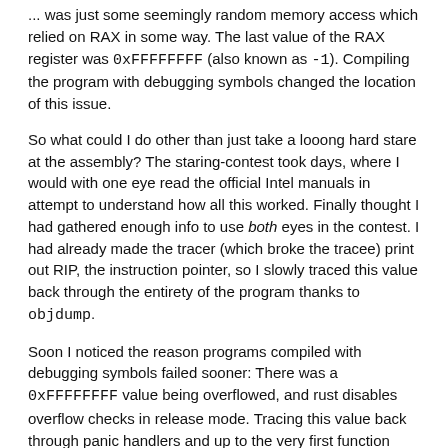... was just some seemingly random memory access which relied on RAX in some way. The last value of the RAX register was 0xFFFFFFFF (also known as -1). Compiling the program with debugging symbols changed the location of this issue.
So what could I do other than just take a looong hard stare at the assembly? The staring-contest took days, where I would with one eye read the official Intel manuals in attempt to understand how all this worked. Finally thought I had gathered enough info to use both eyes in the contest. I had already made the tracer (which broke the tracee) print out RIP, the instruction pointer, so I slowly traced this value back through the entirety of the program thanks to objdump.
Soon I noticed the reason programs compiled with debugging symbols failed sooner: There was a 0xFFFFFFFF value being overflowed, and rust disables overflow checks in release mode. Tracing this value back through panic handlers and up to the very first function ever executed by the tracee, I found a recurring pattern in the code. There always seemed to be (mind you, I would trust a broken clock to be able to run machine code better than I can read a human-readable version of it) some kind of comparison which should've made the current statement unreachable. Like the ZF flag being reset on every instruction. A